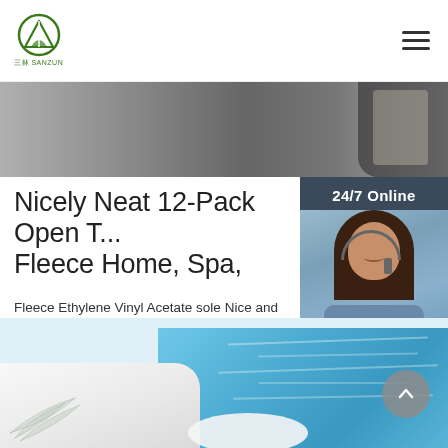SANZUN logo and hamburger menu
[Figure (photo): Dark hero banner image strip at top of page]
Nicely Neat 12-Pack Open T... Fleece Home, Spa,
Fleece Ethylene Vinyl Acetate sole Nice and Com... soft coral fleece with an open-toe design for a li... Simple Travel or Home Slippers: These white sli... centimeters long and fit a men's size 7-8 (US) or 8.5-9.5 (US); Made ...
[Figure (photo): 24/7 Online customer support representative sidebar panel with photo of woman with headset, Click here for free chat text, and orange QUOTATION button]
[Figure (photo): Get Price green button]
[Figure (photo): Bottom banner showing pool/spa scene with blue water, white slippers, and leaf motif. Back to top arrow button visible.]